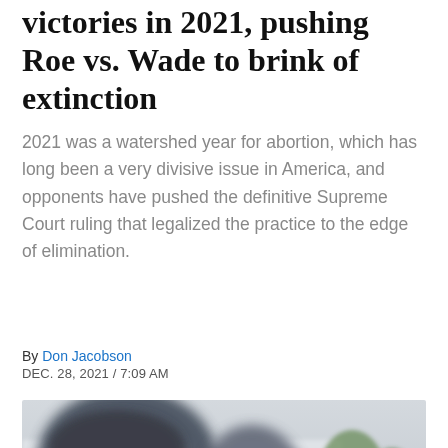victories in 2021, pushing Roe vs. Wade to brink of extinction
2021 was a watershed year for abortion, which has long been a very divisive issue in America, and opponents have pushed the definitive Supreme Court ruling that legalized the practice to the edge of elimination.
By Don Jacobson
DEC. 28, 2021 / 7:09 AM
[Figure (photo): Photo of police officers and protesters outside what appears to be the US Supreme Court building. Officers wearing helmets are visible in the foreground, with a yellow cross sign reading 'JESUS' visible in the background along with the court building and trees.]